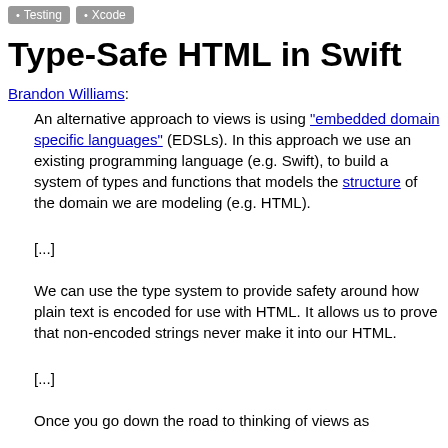• Testing  • Xcode
Type-Safe HTML in Swift
Brandon Williams:
An alternative approach to views is using "embedded domain specific languages" (EDSLs). In this approach we use an existing programming language (e.g. Swift), to build a system of types and functions that models the structure of the domain we are modeling (e.g. HTML).
[...]
We can use the type system to provide safety around how plain text is encoded for use with HTML. It allows us to prove that non-encoded strings never make it into our HTML.
[...]
Once you go down the road to thinking of views as